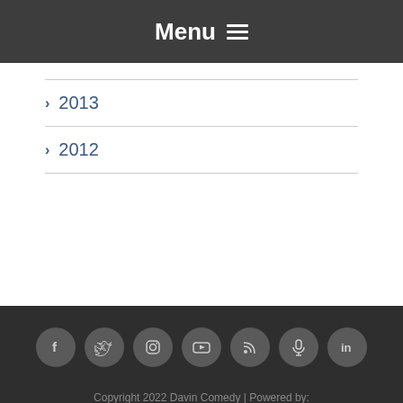Menu ≡
› 2013
› 2012
[Figure (infographic): Row of 7 circular social media icon buttons (Facebook, Twitter, Instagram, YouTube, RSS, Podcast, LinkedIn) in dark grey circles on a dark background]
Copyright 2022 Davin Comedy | Powered by: